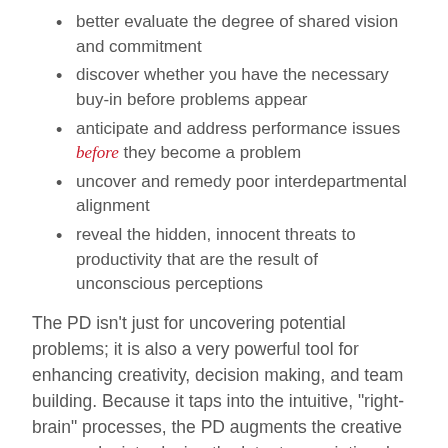better evaluate the degree of shared vision and commitment
discover whether you have the necessary buy-in before problems appear
anticipate and address performance issues before they become a problem
uncover and remedy poor interdepartmental alignment
reveal the hidden, innocent threats to productivity that are the result of unconscious perceptions
The PD isn't just for uncovering potential problems; it is also a very powerful tool for enhancing creativity, decision making, and team building. Because it taps into the intuitive, "right-brain" processes, the PD augments the creative process by introducing the latent associational, symbolic perceptions of the issues you're assessing. By uncovering deeply held attitudes and perceptions, it can act as an awareness